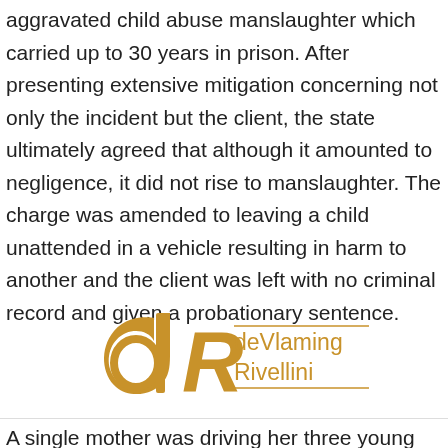aggravated child abuse manslaughter which carried up to 30 years in prison. After presenting extensive mitigation concerning not only the incident but the client, the state ultimately agreed that although it amounted to negligence, it did not rise to manslaughter. The charge was amended to leaving a child unattended in a vehicle resulting in harm to another and the client was left with no criminal record and given a probationary sentence.
[Figure (logo): deVlaming Rivellini law firm logo with stylized 'dR' monogram in gold/amber color]
A single mother was driving her three young children to a doctor's appointment. It was a rainy day and temperatures did not get out of the 70s. While taking care of a few